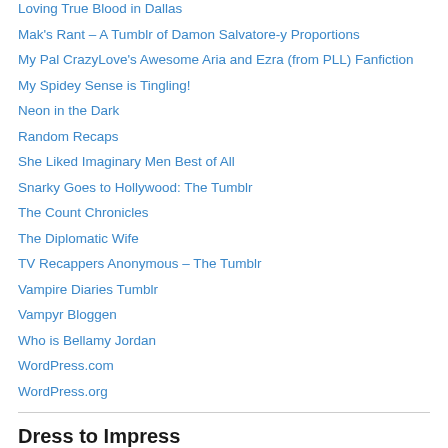Loving True Blood in Dallas
Mak's Rant – A Tumblr of Damon Salvatore-y Proportions
My Pal CrazyLove's Awesome Aria and Ezra (from PLL) Fanfiction
My Spidey Sense is Tingling!
Neon in the Dark
Random Recaps
She Liked Imaginary Men Best of All
Snarky Goes to Hollywood: The Tumblr
The Count Chronicles
The Diplomatic Wife
TV Recappers Anonymous – The Tumblr
Vampire Diaries Tumblr
Vampyr Bloggen
Who is Bellamy Jordan
WordPress.com
WordPress.org
Dress to Impress
[Figure (photo): Top of a person's head/face photo, partially visible at bottom of page]